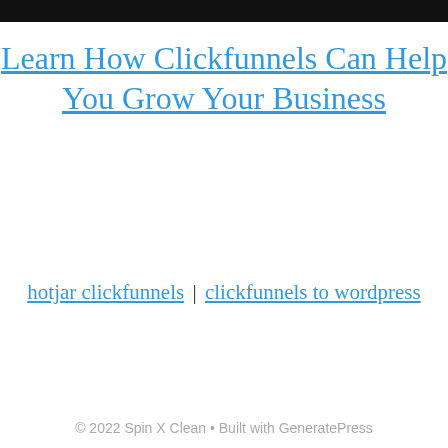Learn How Clickfunnels Can Help You Grow Your Business
hotjar clickfunnels | clickfunnels to wordpress
© 2022 Spin X Clean • Built with GeneratePress